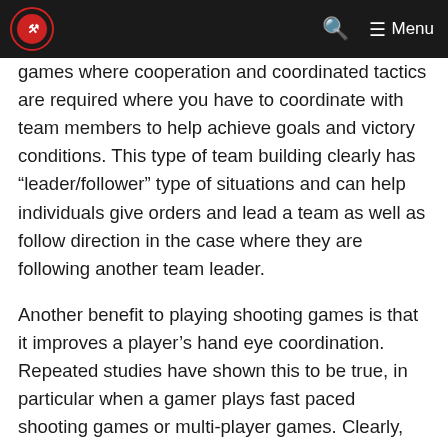Menu
games where cooperation and coordinated tactics are required where you have to coordinate with team members to help achieve goals and victory conditions. This type of team building clearly has “leader/follower” type of situations and can help individuals give orders and lead a team as well as follow direction in the case where they are following another team leader.
Another benefit to playing shooting games is that it improves a player’s hand eye coordination. Repeated studies have shown this to be true, in particular when a gamer plays fast paced shooting games or multi-player games. Clearly, while shooting games are engrossing